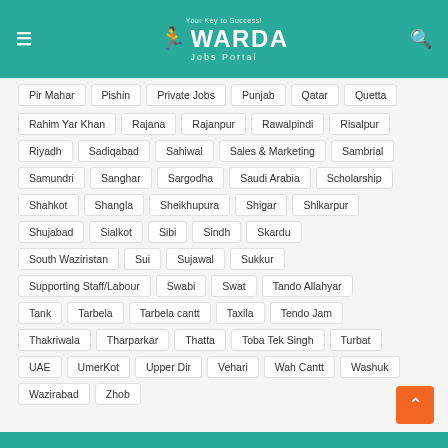WARDA Jobs Portal
Pir Mahar
Pishin
Private Jobs
Punjab
Qatar
Quetta
Rahim Yar Khan
Rajana
Rajanpur
Rawalpindi
Risalpur
Riyadh
Sadiqabad
Sahiwal
Sales & Marketing
Sambrial
Samundri
Sanghar
Sargodha
Saudi Arabia
Scholarship
Shahkot
Shangla
Sheikhupura
Shigar
Shikarpur
Shujabad
Sialkot
Sibi
Sindh
Skardu
South Waziristan
Sui
Sujawal
Sukkur
Supporting Staff/Labour
Swabi
Swat
Tando Allahyar
Tank
Tarbela
Tarbela cantt
Taxila
Tendo Jam
Thakriwala
Tharparkar
Thatta
Toba Tek Singh
Turbat
UAE
UmerKot
Upper Dir
Vehari
Wah Cantt
Washuk
Wazirabad
Zhob